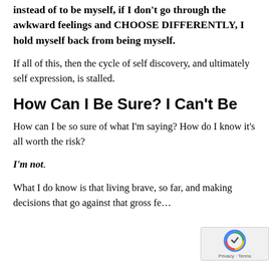instead of to be myself, if I don't go through the awkward feelings and CHOOSE DIFFERENTLY, I hold myself back from being myself.
If all of this, then the cycle of self discovery, and ultimately self expression, is stalled.
How Can I Be Sure? I Can't Be
How can I be so sure of what I'm saying? How do I know it's all worth the risk?
I'm not.
What I do know is that living brave, so far, and making decisions that go against that gross fe…